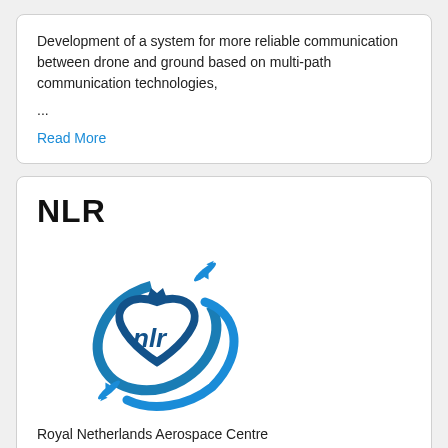Development of a system for more reliable communication between drone and ground based on multi-path communication technologies,
...
Read More
NLR
[Figure (logo): NLR Royal Netherlands Aerospace Centre logo — circular blue swoosh with a stylized crown and the letters 'nlr' in blue, with two aircraft silhouettes forming the swoop lines.]
Royal Netherlands Aerospace Centre